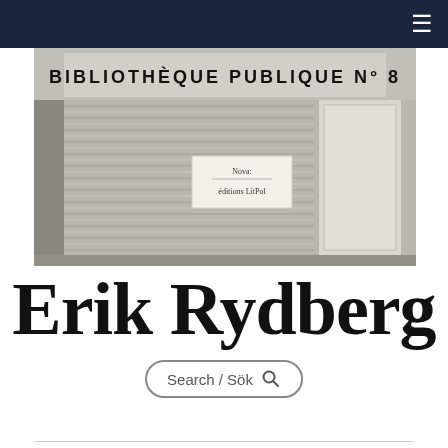≡
[Figure (photo): Black and white photograph of a closed library storefront with rolling metal shutter. Sign reads 'BIBLIOTHÈQUE PUBLIQUE N° 8'. A small white card in the center reads 'Nova: éditions LitPol'.]
Erik Rydberg
Search / Sök 🔍